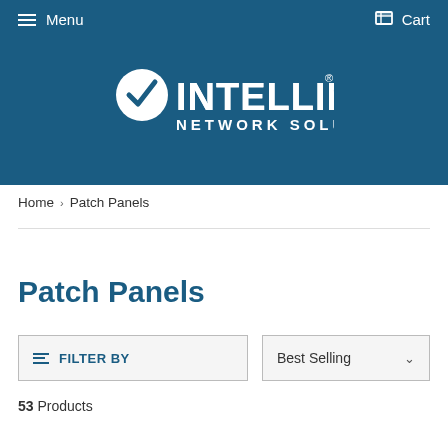Menu | Cart
[Figure (logo): Intellinet Network Solutions logo — white circular checkmark icon with INTELLINET in bold and NETWORK SOLUTIONS below, on dark blue background]
Home › Patch Panels
Patch Panels
FILTER BY
Best Selling
53 Products